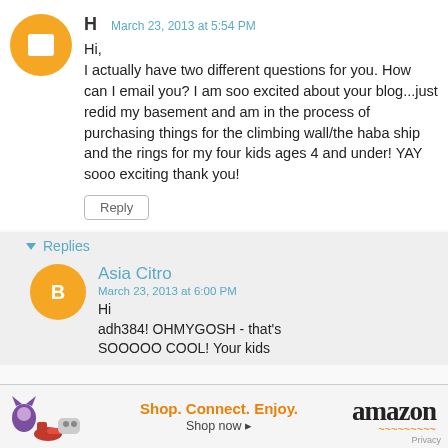H
March 23, 2013 at 5:54 PM
Hi,
I actually have two different questions for you. How can I email you? I am soo excited about your blog...just redid my basement and am in the process of purchasing things for the climbing wall/the haba ship and the rings for my four kids ages 4 and under! YAY sooo exciting thank you!
Reply
Replies
[Figure (logo): Blogger avatar icon - orange circle with white B]
Asia Citro
March 23, 2013 at 6:00 PM
Hi adh384! OHMYGOSH - that's SOOOOO COOL! Your kids
[Figure (logo): Blogger avatar icon - orange circle with white B (reply)]
[Figure (infographic): Amazon advertisement bar with cat plush, shoes, Xbox controller, tagline Shop. Connect. Enjoy., Amazon logo]